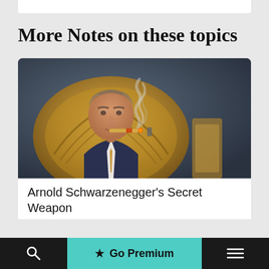More Notes on these topics
[Figure (photo): A man in a suit smoking a cigar, seated in front of an ornate golden background, with smoke rising.]
Arnold Schwarzenegger’s Secret Weapon
Go Premium